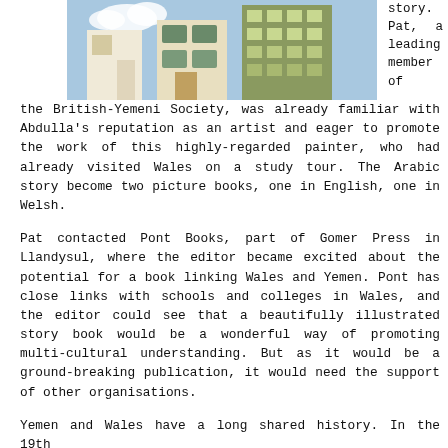[Figure (illustration): Illustrated image showing colorful painted buildings, appears to be a cityscape or town scene with architectural details, in a cartoon/illustrated style]
story. Pat, a leading member of the British-Yemeni Society, was already familiar with Abdulla's reputation as an artist and eager to promote the work of this highly-regarded painter, who had already visited Wales on a study tour. The Arabic story become two picture books, one in English, one in Welsh.

Pat contacted Pont Books, part of Gomer Press in Llandysul, where the editor became excited about the potential for a book linking Wales and Yemen. Pont has close links with schools and colleges in Wales, and the editor could see that a beautifully illustrated story book would be a wonderful way of promoting multi-cultural understanding. But as it would be a ground-breaking publication, it would need the support of other organisations.

Yemen and Wales have a long shared history. In the 19th